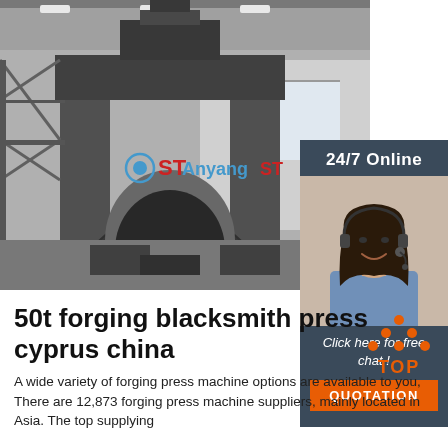[Figure (photo): Industrial forging press machine inside a large factory/warehouse, black and white photo with Anyang ST logo watermark]
[Figure (photo): Customer service representative with headset smiling, alongside 24/7 Online text, Click here for free chat text, and QUOTATION button on dark sidebar]
50t forging blacksmith press cyprus china
A wide variety of forging press machine options are available to you, There are 12,873 forging press machine suppliers, mainly located in Asia. The top supplying